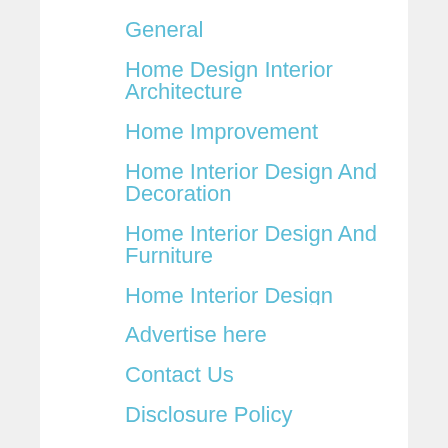General
Home Design Interior Architecture
Home Improvement
Home Interior Design And Decoration
Home Interior Design And Furniture
Home Interior Design Catalog
Home Interior Design Company
Advertise here
Contact Us
Disclosure Policy